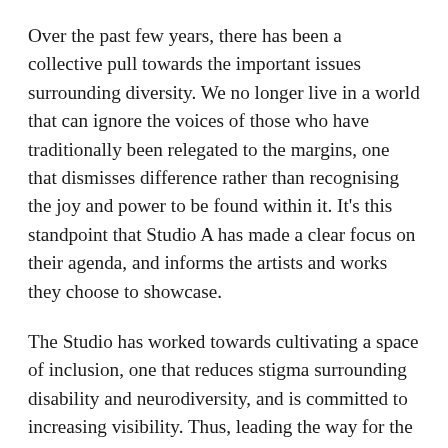Over the past few years, there has been a collective pull towards the important issues surrounding diversity. We no longer live in a world that can ignore the voices of those who have traditionally been relegated to the margins, one that dismisses difference rather than recognising the joy and power to be found within it. It's this standpoint that Studio A has made a clear focus on their agenda, and informs the artists and works they choose to showcase.
The Studio has worked towards cultivating a space of inclusion, one that reduces stigma surrounding disability and neurodiversity, and is committed to increasing visibility. Thus, leading the way for the